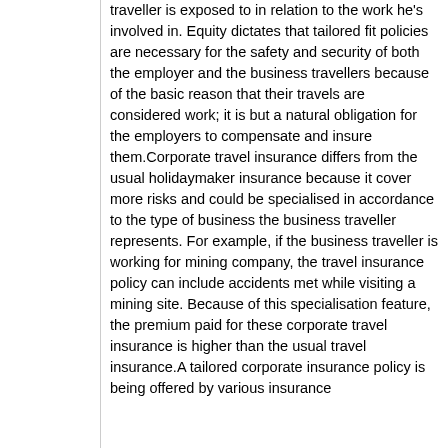traveller is exposed to in relation to the work he's involved in. Equity dictates that tailored fit policies are necessary for the safety and security of both the employer and the business travellers because of the basic reason that their travels are considered work; it is but a natural obligation for the employers to compensate and insure them.Corporate travel insurance differs from the usual holidaymaker insurance because it cover more risks and could be specialised in accordance to the type of business the business traveller represents. For example, if the business traveller is working for mining company, the travel insurance policy can include accidents met while visiting a mining site. Because of this specialisation feature, the premium paid for these corporate travel insurance is higher than the usual travel insurance.A tailored corporate insurance policy is being offered by various insurance